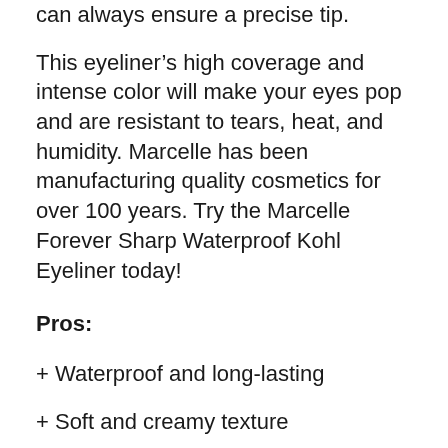can always ensure a precise tip.
This eyeliner’s high coverage and intense color will make your eyes pop and are resistant to tears, heat, and humidity. Marcelle has been manufacturing quality cosmetics for over 100 years. Try the Marcelle Forever Sharp Waterproof Kohl Eyeliner today!
Pros:
+ Waterproof and long-lasting
+ Soft and creamy texture
+ Integrated sharpener